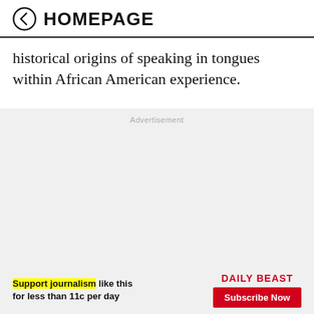HOMEPAGE
historical origins of speaking in tongues within African American experience.
Advertisement
Support journalism like this for less than 11c per day
DAILY BEAST
Subscribe Now